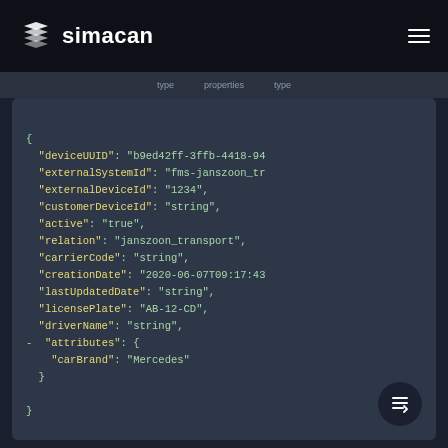simacan
[Figure (screenshot): JSON code block showing device API response with fields: deviceUUID, externalSystemId, externalDeviceId, customerDeviceId, active, relation, carrierCode, creationDate, lastUpdatedDate, licensePlate, driverName, attributes with carBrand Mercedes]